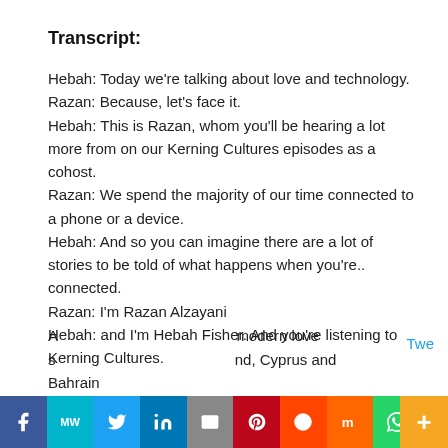Transcript:
Hebah: Today we're talking about love and technology.
Razan: Because, let's face it.
Hebah: This is Razan, whom you'll be hearing a lot more from on our Kerning Cultures episodes as a cohost.
Razan: We spend the majority of our time connected to a phone or a device.
Hebah: And so you can imagine there are a lot of stories to be told of what happens when you're.. connected.
Razan: I'm Razan Alzayani
Hebah: and I'm Hebah Fisher. And you're listening to Kerning Cultures.
A... modern love s... nd, Cyprus and Bahrain...